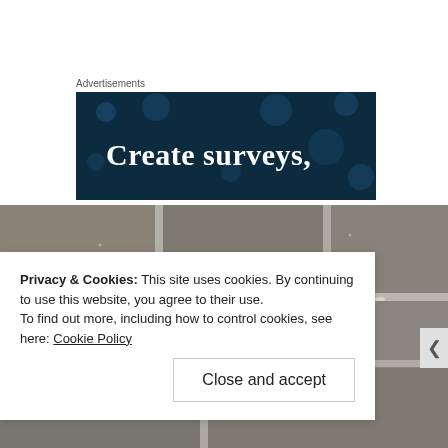Advertisements
[Figure (photo): Advertisement banner with dark navy background showing decorative dots and text 'Create surveys,']
[Figure (photo): Close-up photograph of grey concrete or brick wall showing mortar joints between blocks]
Privacy & Cookies: This site uses cookies. By continuing to use this website, you agree to their use.
To find out more, including how to control cookies, see here: Cookie Policy
Close and accept